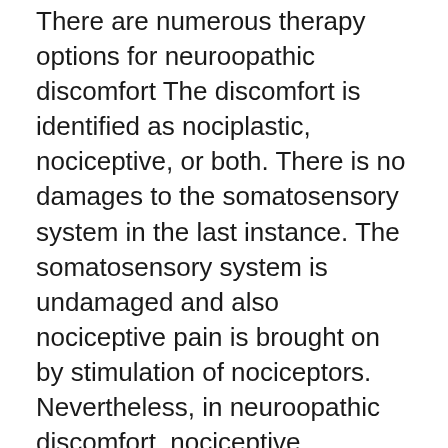There are numerous therapy options for neuroopathic discomfort The discomfort is identified as nociplastic, nociceptive, or both. There is no damages to the somatosensory system in the last instance. The somatosensory system is undamaged and also nociceptive pain is brought on by stimulation of nociceptors. Nevertheless, in neuroopathic discomfort, nociceptive discomfort does not occur because of cells damage. The prevalence of neuropathic discomfort is 6.9-10%.
The medical diagnosis of neuropathic pain is based on a variety of medical attributes. A number of tests can be done, consisting of axon response, to identify neuropathic discomfort. A skin strike biopsy is an low-